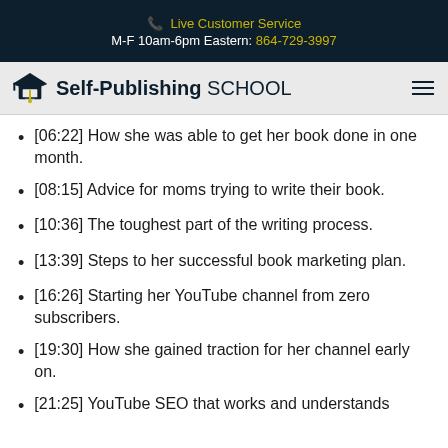📞 Live Customer Service
M-F 10am-6pm Eastern: 864-729-3997
Self-Publishing SCHOOL
[06:22] How she was able to get her book done in one month.
[08:15] Advice for moms trying to write their book.
[10:36] The toughest part of the writing process.
[13:39] Steps to her successful book marketing plan.
[16:26] Starting her YouTube channel from zero subscribers.
[19:30] How she gained traction for her channel early on.
[21:25] YouTube SEO that works and understands